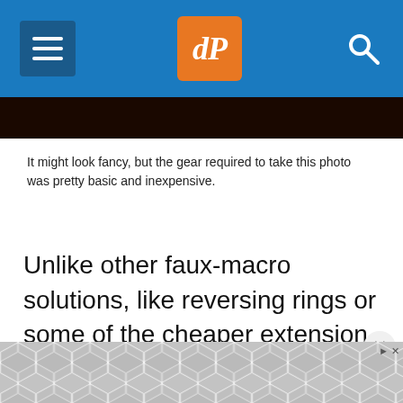dPS (Digital Photography School) navigation bar with menu, logo, and search
[Figure (photo): Dark brown/black background band, partial image at top]
It might look fancy, but the gear required to take this photo was pretty basic and inexpensive.
Unlike other faux-macro solutions, like reversing rings or some of the cheaper extension tubes, close-up filters still allow you to use autofocus. Even so, you might get best results if you focus manually or use focus bracketing to make sure you get just the right shot. Finally, one of my favorite aspects of close-up filters is how small
[Figure (other): Advertisement banner with geometric hexagon pattern in gray tones at bottom of page]